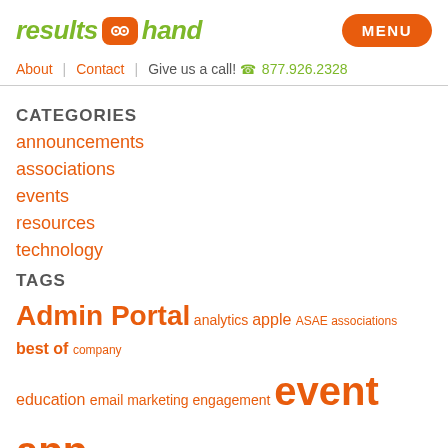[Figure (logo): results@hand logo with orange robot icon and green italic text, plus orange MENU button]
About | Contact | Give us a call! 877.926.2328
CATEGORIES
announcements
associations
events
resources
technology
TAGS
Admin Portal analytics apple ASAE associations best of company education email marketing engagement event app tips event garde event mangement exhibitors